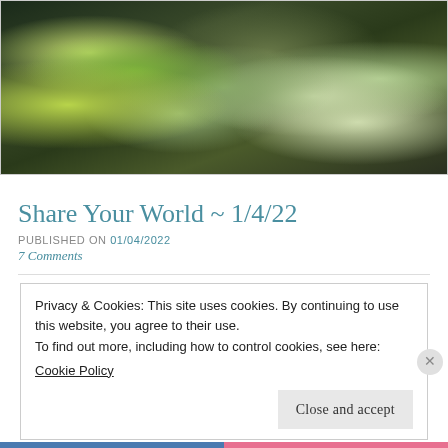[Figure (photo): Close-up photograph of tropical green and silvery-gray leaves and plants against a dark background]
Share Your World ~ 1/4/22
PUBLISHED ON 01/04/2022
7 Comments
Privacy & Cookies: This site uses cookies. By continuing to use this website, you agree to their use.
To find out more, including how to control cookies, see here:
Cookie Policy
Close and accept